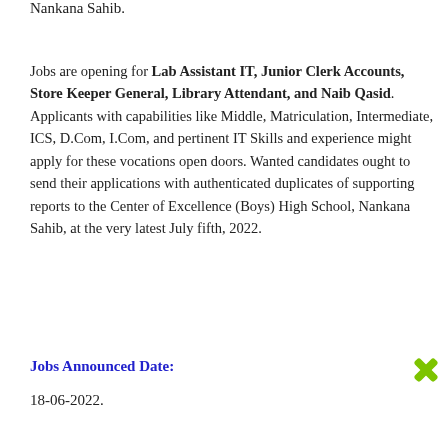Nankana Sahib.
Jobs are opening for Lab Assistant IT, Junior Clerk Accounts, Store Keeper General, Library Attendant, and Naib Qasid. Applicants with capabilities like Middle, Matriculation, Intermediate, ICS, D.Com, I.Com, and pertinent IT Skills and experience might apply for these vocations open doors. Wanted candidates ought to send their applications with authenticated duplicates of supporting reports to the Center of Excellence (Boys) High School, Nankana Sahib, at the very latest July fifth, 2022.
Jobs Announced Date:
18-06-2022.